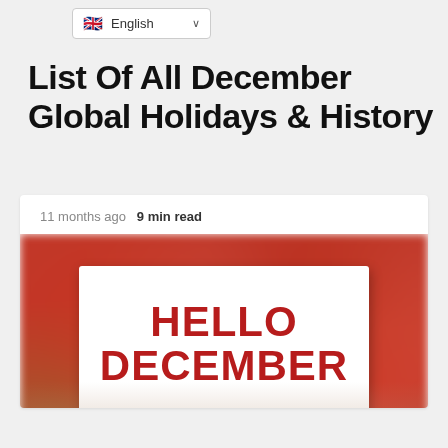English
List Of All December Global Holidays & History
11 months ago  9 min read
[Figure (photo): Person holding a white sign reading HELLO DECEMBER in bold red letters, with blurred colorful bokeh background in red and green tones. A scroll-to-top arrow button is visible in the bottom-right corner.]